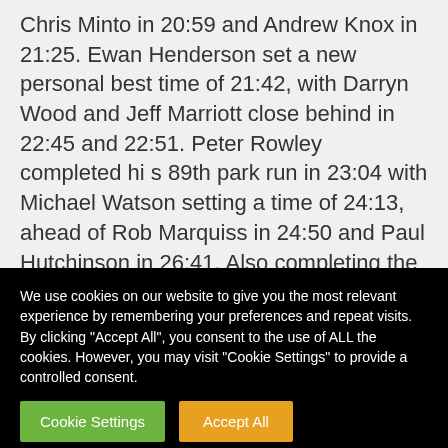Chris Minto in 20:59 and Andrew Knox in 21:25. Ewan Henderson set a new personal best time of 21:42, with Darryn Wood and Jeff Marriott close behind in 22:45 and 22:51. Peter Rowley completed hi s 89th park run in 23:04 with Michael Watson setting a time of 24:13, ahead of Rob Marquiss in 24:50 and Paul Hutchinson in 26:41. Also completing the run were Aiden Robertson
We use cookies on our website to give you the most relevant experience by remembering your preferences and repeat visits. By clicking "Accept All", you consent to the use of ALL the cookies. However, you may visit "Cookie Settings" to provide a controlled consent.
Cookie Settings
Accept All